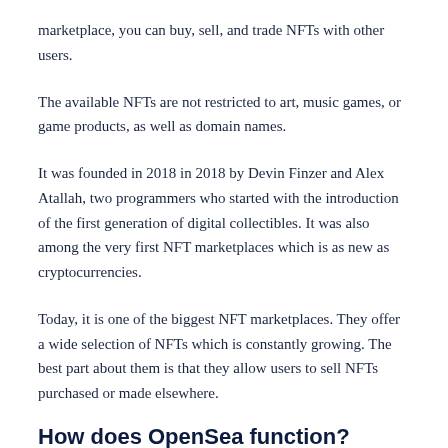marketplace, you can buy, sell, and trade NFTs with other users.
The available NFTs are not restricted to art, music games, or game products, as well as domain names.
It was founded in 2018 in 2018 by Devin Finzer and Alex Atallah, two programmers who started with the introduction of the first generation of digital collectibles. It was also among the very first NFT marketplaces which is as new as cryptocurrencies.
Today, it is one of the biggest NFT marketplaces. They offer a wide selection of NFTs which is constantly growing. The best part about them is that they allow users to sell NFTs purchased or made elsewhere.
How does OpenSea function?